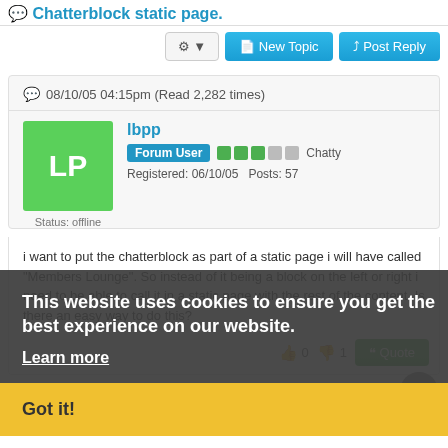Chatterblock static page.
08/10/05 04:15pm (Read 2,282 times)
lbpp
Forum User  Chatty
Registered: 06/10/05  Posts: 57
Status: offline
i want to put the chatterblock as part of a static page i will have called "Members Lounge". So instead of it being a block on the left or right i need to be able to call it in a static page with the rest of the content. Is there an easy way to do this?
This website uses cookies to ensure you get the best experience on our website.
Learn more
Got it!